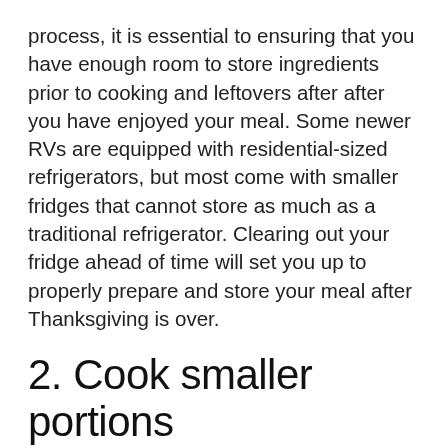process, it is essential to ensuring that you have enough room to store ingredients prior to cooking and leftovers after after you have enjoyed your meal. Some newer RVs are equipped with residential-sized refrigerators, but most come with smaller fridges that cannot store as much as a traditional refrigerator. Clearing out your fridge ahead of time will set you up to properly prepare and store your meal after Thanksgiving is over.
2. Cook smaller portions
Since you will likely be working with a smaller oven and fridge, you may need to cook smaller portions than you typically do for Thanksgiving. This way, you will have enough room in your